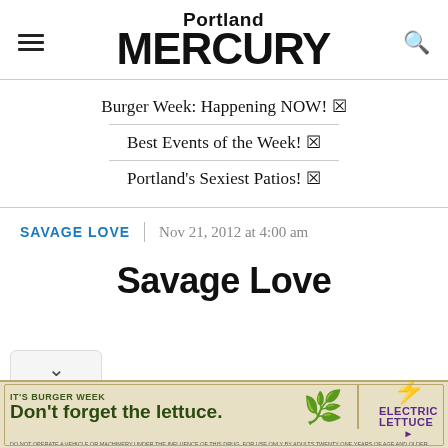Portland MERCURY
Burger Week: Happening NOW! 🔥
Best Events of the Week! 🔥
Portland's Sexiest Patios! 🔥
SAVAGE LOVE
Nov 21, 2012 at 4:00 am
Savage Love
[Figure (infographic): Electric Lettuce advertisement banner: IT'S BURGER WEEK - Don't forget the lettuce.]